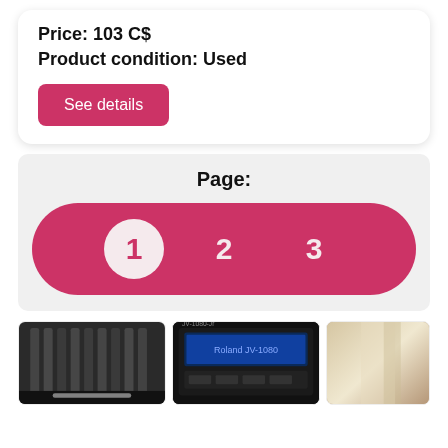Price: 103 C$
Product condition: Used
See details
Page:
[Figure (infographic): Pagination bar with pink/crimson background showing page numbers 1 (active, in white circle), 2, and 3]
[Figure (photo): Three product thumbnail images at bottom of page: a dark audio/music equipment panel, a Roland JV-1080 synthesizer with blue display, and a light-colored draped or furry object]